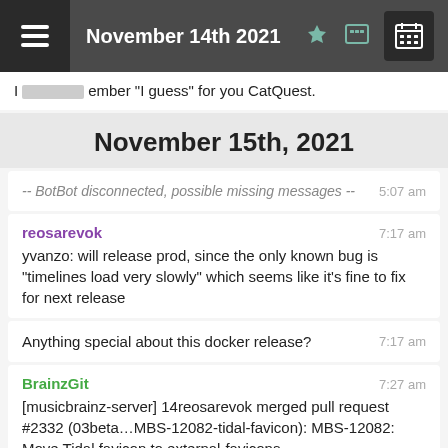November 14th 2021
ember "I guess" for you CatQuest.
November 15th, 2021
-- BotBot disconnected, possible missing messages -- 5:07 am
reosarevok 7:17 am
yvanzo: will release prod, since the only known bug is "timelines load very slowly" which seems like it's fine to fix for next release
Anything special about this docker release? 7:17 am
BrainzGit 7:27 am
[musicbrainz-server] 14reosarevok merged pull request #2332 (03beta...MBS-12082-tidal-favicon): MBS-12082: Move Tidal favicon to external-favicons.